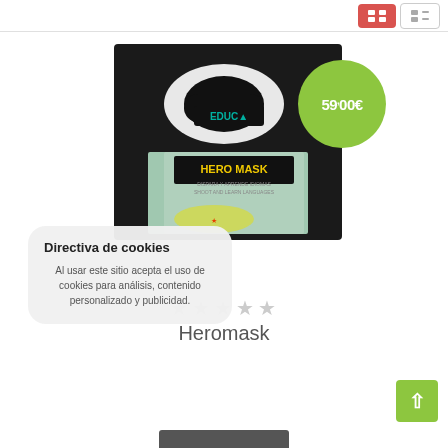[Figure (screenshot): Top navigation bar with red grid view button and gray list view button]
[Figure (photo): Product photo of Heromask VR headset by Educa Inventus, shown with product box labeled HERO MASK - dispara y aprende idiomas / shoot and learn languages]
59,00€
Directiva de cookies
Al usar este sitio acepta el uso de cookies para análisis, contenido personalizado y publicidad.
Heromask
[Figure (other): Back to top button - green square with upward arrow]